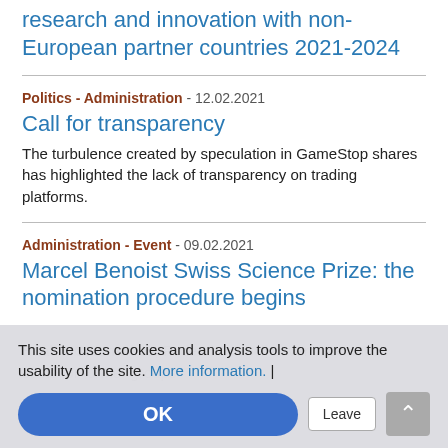research and innovation with non-European partner countries 2021-2024
Politics - Administration - 12.02.2021
Call for transparency
The turbulence created by speculation in GameStop shares has highlighted the lack of transparency on trading platforms.
Administration - Event - 09.02.2021
Marcel Benoist Swiss Science Prize: the nomination procedure begins
This site uses cookies and analysis tools to improve the usability of the site. More information. | OK Leave